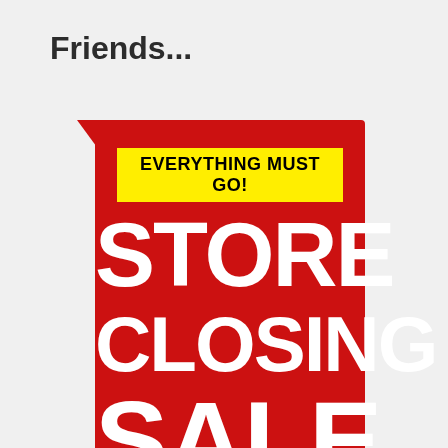Friends...
[Figure (illustration): A red store closing sale sign with a speech bubble notch at the top-left. Contains a yellow banner reading 'EVERYTHING MUST GO!' in bold black text, and large white bold text reading 'STORE CLOSING SALE' on the red background.]